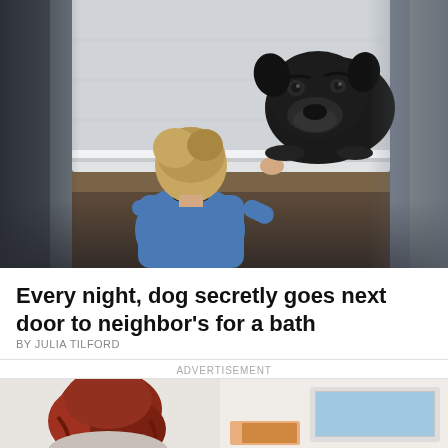[Figure (photo): A young toddler in a blue long-sleeve shirt stands with back to camera, peering over the edge of a bathtub. A large black dog rests its head on the far edge of the tub, looking directly at the camera. The scene is in a bathroom with grey-white walls.]
Every night, dog secretly goes next door to neighbor's for a bath
BY JULIA TILFORD
ADVERTISEMENT
[Figure (photo): Partial view of an advertisement showing a woman with auburn/red hair, seen from behind, sitting at what appears to be a desk or table with items in front of her.]